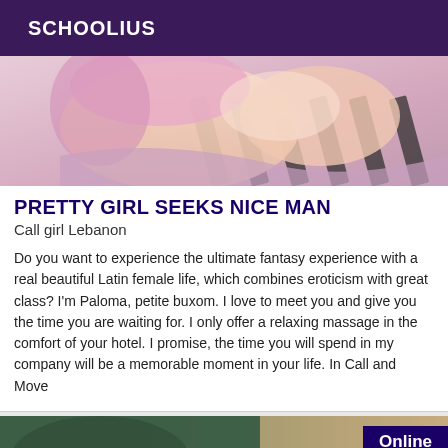SCHOOLIUS
[Figure (illustration): Cropped illustration of an anime-style female figure with pink/lavender hair tones and light skin, shown from shoulders/chest area against a light background with dark diagonal lines.]
PRETTY GIRL SEEKS NICE MAN
Call girl Lebanon
Do you want to experience the ultimate fantasy experience with a real beautiful Latin female life, which combines eroticism with great class? I'm Paloma, petite buxom. I love to meet you and give you the time you are waiting for. I only offer a relaxing massage in the comfort of your hotel. I promise, the time you will spend in my company will be a memorable moment in your life. In Call and Move
[Figure (photo): Partial photo of a person in dark green/teal clothing against a beige/tan background, with an 'Online' badge in the top right corner.]